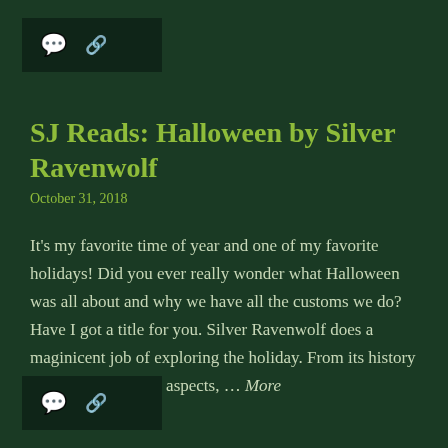💬 🔗
SJ Reads: Halloween by Silver Ravenwolf
October 31, 2018
It's my favorite time of year and one of my favorite holidays! Did you ever really wonder what Halloween was all about and why we have all the customs we do? Have I got a title for you. Silver Ravenwolf does a maginicent job of exploring the holiday. From its history to different cultural aspects, … More
💬 🔗